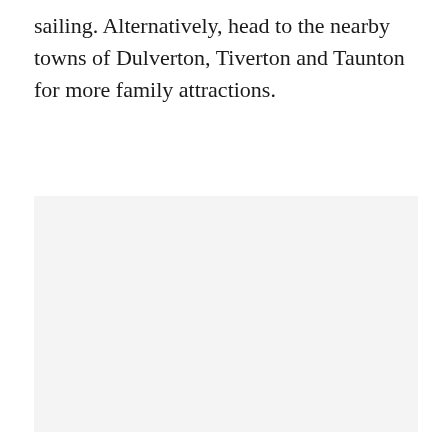sailing. Alternatively, head to the nearby towns of Dulverton, Tiverton and Taunton for more family attractions.
[Figure (photo): A large light grey rectangular placeholder image area occupying the lower portion of the page.]